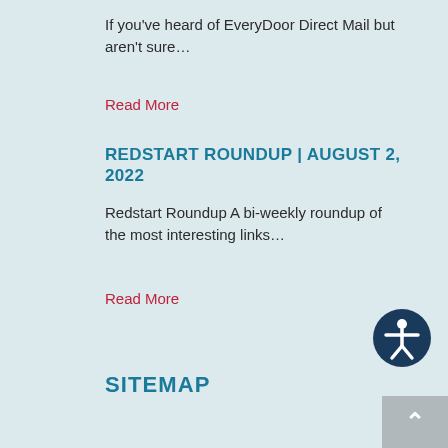If you've heard of EveryDoor Direct Mail but aren't sure…
Read More
REDSTART ROUNDUP | AUGUST 2, 2022
Redstart Roundup A bi-weekly roundup of the most interesting links…
Read More
[Figure (illustration): Accessibility icon — dark navy circle with white person figure with arms outstretched]
SITEMAP
Values
What We Do
Results
Culture